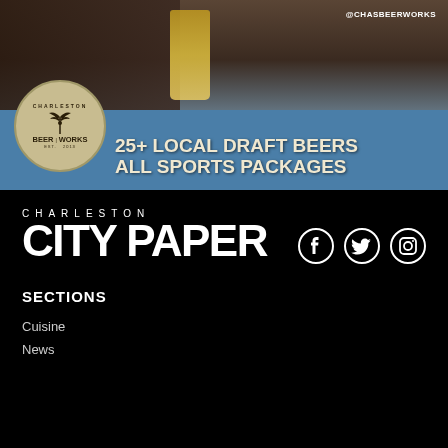[Figure (photo): Charleston Beer Works advertisement with logo circle, beer glass, baseball cap, text '25+ LOCAL DRAFT BEERS ALL SPORTS PACKAGES' and '@CHASBEERWORKS' social handle]
CHARLESTON CITY PAPER
[Figure (infographic): Social media icons: Facebook, Twitter, Instagram in white on black background]
SECTIONS
Cuisine
News